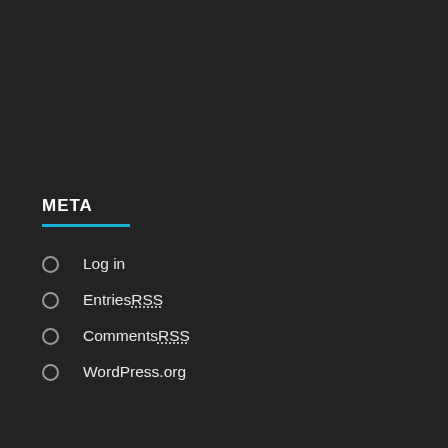META
Log in
Entries RSS
Comments RSS
WordPress.org